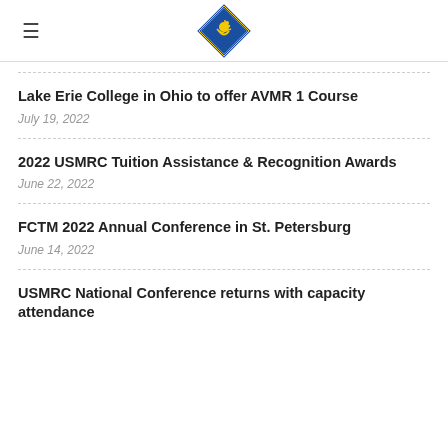USMRC
Lake Erie College in Ohio to offer AVMR 1 Course
July 19, 2022
2022 USMRC Tuition Assistance & Recognition Awards
June 22, 2022
FCTM 2022 Annual Conference in St. Petersburg
June 14, 2022
USMRC National Conference returns with capacity attendance